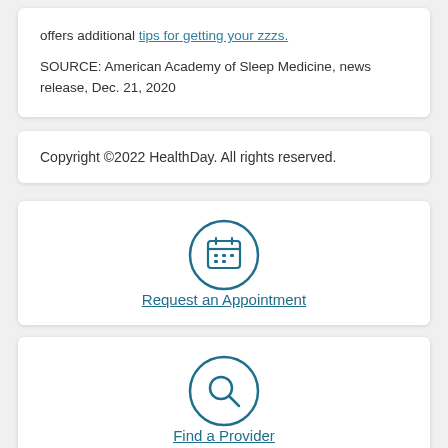offers additional tips for getting your zzzs. SOURCE: American Academy of Sleep Medicine, news release, Dec. 21, 2020
Copyright ©2022 HealthDay. All rights reserved.
[Figure (illustration): Calendar icon inside a circle, teal/dark blue color]
Request an Appointment
[Figure (illustration): Magnifying glass / search icon inside a circle, teal/dark blue color]
Find a Provider